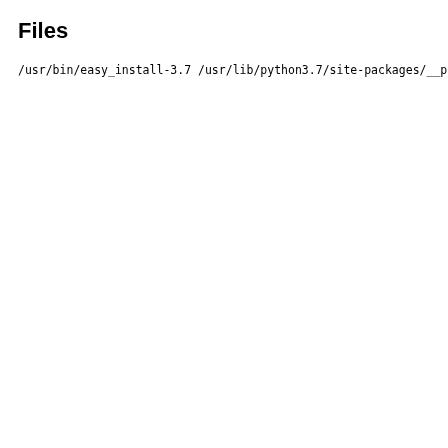Files
/usr/bin/easy_install-3.7
/usr/lib/python3.7/site-packages/__pycache__/easy_install
/usr/lib/python3.7/site-packages/__pycache__/easy_install
/usr/lib/python3.7/site-packages/easy_install.py
/usr/lib/python3.7/site-packages/setuptools
/usr/lib/python3.7/site-packages/setuptools-41.0.0.dist-i
/usr/lib/python3.7/site-packages/setuptools-41.0.0.dist-i
/usr/lib/python3.7/site-packages/setuptools-41.0.0.dist-i
/usr/lib/python3.7/site-packages/setuptools-41.0.0.dist-i
/usr/lib/python3.7/site-packages/setuptools-41.0.0.dist-i
/usr/lib/python3.7/site-packages/setuptools-41.0.0.dist-i
/usr/lib/python3.7/site-packages/setuptools-41.0.0.dist-i
/usr/lib/python3.7/site-packages/setuptools-41.0.0.dist-i
/usr/lib/python3.7/site-packages/setuptools-41.0.0.dist-i
/usr/lib/python3.7/site-packages/setuptools-41.0.0.dist-i
/usr/lib/python3.7/site-packages/setuptools/__init__.py
/usr/lib/python3.7/site-packages/setuptools/__pycache__
/usr/lib/python3.7/site-packages/setuptools/__pycache__/
/usr/lib/python3.7/site-packages/setuptools/__pycache__/
/usr/lib/python3.7/site-packages/setuptools/__pycache__/
/usr/lib/python3.7/site-packages/setuptools/__pycache__/
/usr/lib/python3.7/site-packages/setuptools/__pycache__/a
/usr/lib/python3.7/site-packages/setuptools/__pycache__/a
/usr/lib/python3.7/site-packages/setuptools/__pycache__/b
/usr/lib/python3.7/site-packages/setuptools/__pycache__/b
/usr/lib/python3.7/site-packages/setuptools/__pycache__/b